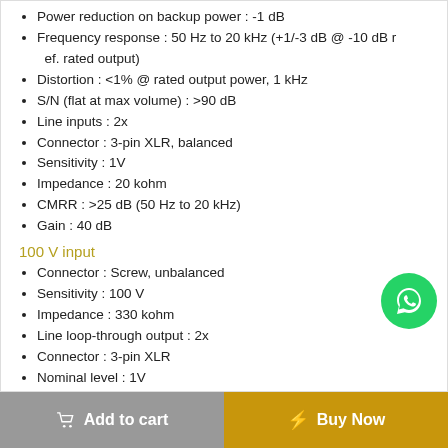Power reduction on backup power : -1 dB
Frequency response : 50 Hz to 20 kHz (+1/-3 dB @ -10 dB ref. rated output)
Distortion : <1% @ rated output power, 1 kHz
S/N (flat at max volume) : >90 dB
Line inputs : 2x
Connector : 3-pin XLR, balanced
Sensitivity : 1V
Impedance : 20 kohm
CMRR : >25 dB (50 Hz to 20 kHz)
Gain : 40 dB
100 V input
Connector : Screw, unbalanced
Sensitivity : 100 V
Impedance : 330 kohm
Line loop-through output : 2x
Connector : 3-pin XLR
Nominal level : 1V
Impedance : Direct connection to line input
Loudspeaker outputs : 3x